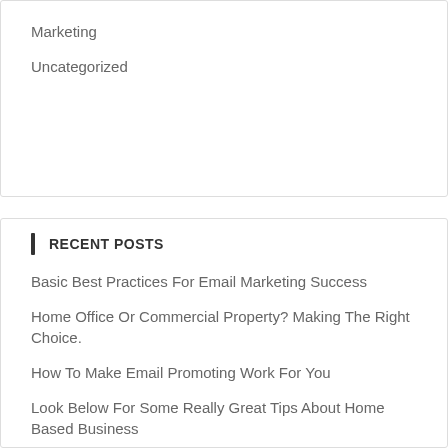Marketing
Uncategorized
RECENT POSTS
Basic Best Practices For Email Marketing Success
Home Office Or Commercial Property? Making The Right Choice.
How To Make Email Promoting Work For You
Look Below For Some Really Great Tips About Home Based Business
Looking To Maximize Your Marketing With Email Efforts? Try These Great Ideas!